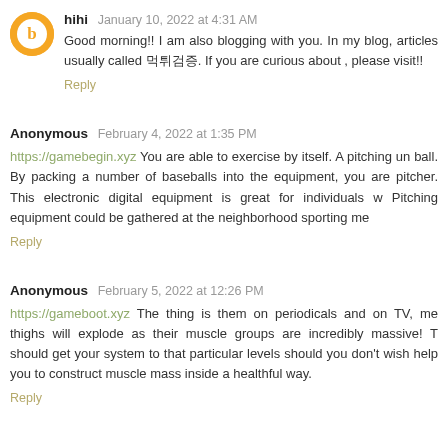hihi  January 10, 2022 at 4:31 AM
Good morning!! I am also blogging with you. In my blog, articles usually called 먹튀검증. If you are curious about , please visit!!
Reply
Anonymous  February 4, 2022 at 1:35 PM
https://gamebegin.xyz You are able to exercise by itself. A pitching un ball. By packing a number of baseballs into the equipment, you are pitcher. This electronic digital equipment is great for individuals w Pitching equipment could be gathered at the neighborhood sporting me
Reply
Anonymous  February 5, 2022 at 12:26 PM
https://gameboot.xyz The thing is them on periodicals and on TV, me thighs will explode as their muscle groups are incredibly massive! T should get your system to that particular levels should you don't wish help you to construct muscle mass inside a healthful way.
Reply